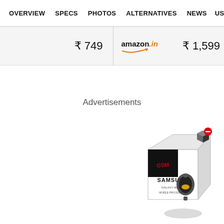OVERVIEW  SPECS  PHOTOS  ALTERNATIVES  NEWS  US
₹ 749
amazon.in  ₹ 1,599
Advertisements
[Figure (photo): Samsung product box showing a Samsung Galaxy smartwatch with a black and red design on the packaging, with a 3D cube/block icon with a red minus button overlay in the top right corner and a grey circle shadow beneath.]